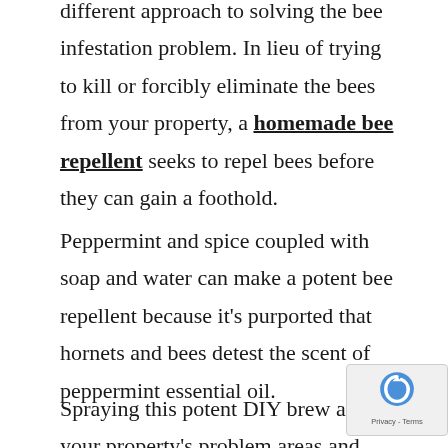different approach to solving the bee infestation problem. In lieu of trying to kill or forcibly eliminate the bees from your property, a homemade bee repellent seeks to repel bees before they can gain a foothold.
Peppermint and spice coupled with soap and water can make a potent bee repellent because it's purported that hornets and bees detest the scent of peppermint essential oil.
Spraying this potent DIY brew around your property's problem areas and